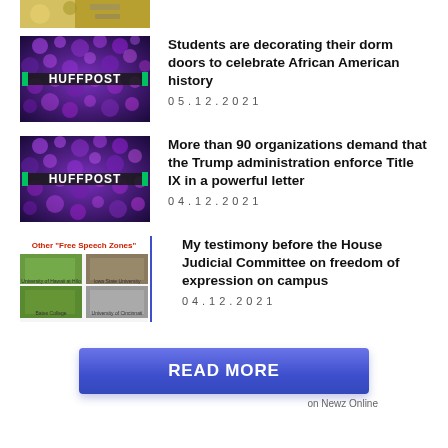[Figure (photo): Partial top image cropped at top of page]
[Figure (illustration): HuffPost branded thumbnail with purple floral background and HUFFPOST logo]
Students are decorating their dorm doors to celebrate African American history
05.12.2021
[Figure (illustration): HuffPost branded thumbnail with purple floral background and HUFFPOST logo]
More than 90 organizations demand that the Trump administration enforce Title IX in a powerful letter
04.12.2021
[Figure (photo): Grid of campus photos with red header text 'Other Free Speech Zones' showing University of Hawaii at Hilo, Iowa State University, Bates College, University of Cincinnati]
My testimony before the House Judicial Committee on freedom of expression on campus
04.12.2021
READ MORE
on Newz Online